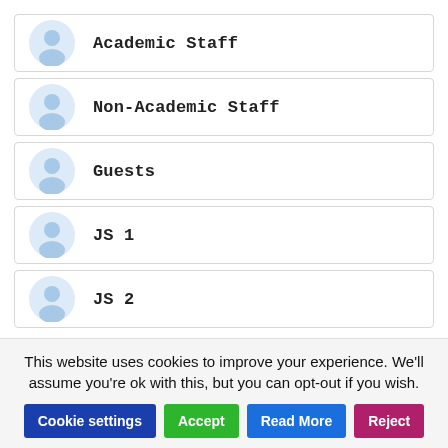Academic Staff
Non-Academic Staff
Guests
JS 1
JS 2
This website uses cookies to improve your experience. We'll assume you're ok with this, but you can opt-out if you wish.
Cookie settings | Accept | Read More | Reject